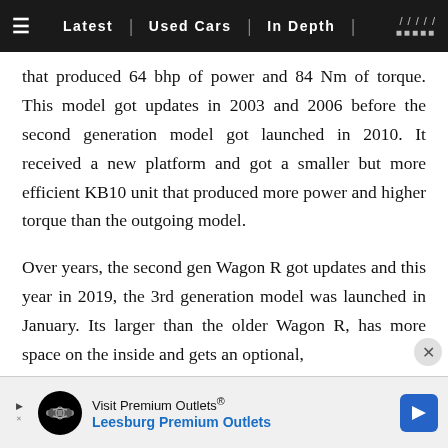≡  Latest | Used Cars | In Depth | /////  □□□□□
that produced 64 bhp of power and 84 Nm of torque. This model got updates in 2003 and 2006 before the second generation model got launched in 2010. It received a new platform and got a smaller but more efficient KB10 unit that produced more power and higher torque than the outgoing model.
Over years, the second gen Wagon R got updates and this year in 2019, the 3rd generation model was launched in January. Its larger than the older Wagon R, has more space on the inside and gets an optional, larger 1.2 litre petrol motor that does duty in cars like
[Figure (other): Advertisement banner for Visit Premium Outlets - Leesburg Premium Outlets with logo and navigation arrow]